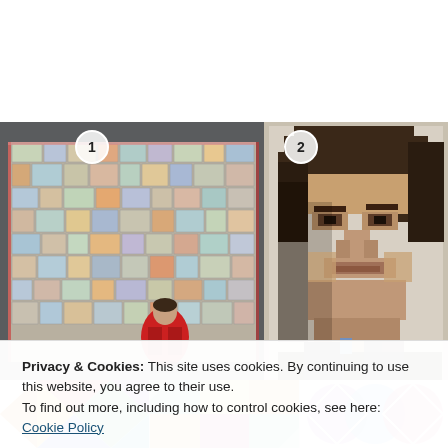[Figure (photo): Two photos side by side. Left photo (labeled 1): A large colorful patchwork quilt hanging on a wall, with a person in a red jacket standing in front of it. Right photo (labeled 2): A close-up portrait quilt of a man's face (resembling Sherlock Holmes / Benedict Cumberbatch) made from fabric squares in brown tones.]
Privacy & Cookies: This site uses cookies. By continuing to use this website, you agree to their use.
To find out more, including how to control cookies, see here: Cookie Policy
[Figure (photo): Bottom strip showing partial images of three quilts with colorful geometric patterns.]